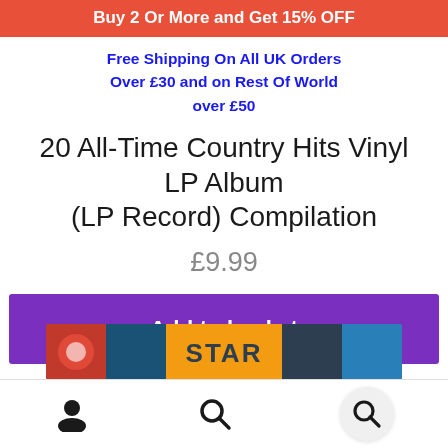Buy 2 Or More and Get 15% OFF
Free Shipping On All UK Orders Over £30 and on Rest Of World over £50
20 All-Time Country Hits Vinyl LP Album (LP Record) Compilation
£9.99
Add to basket
[Figure (photo): Partial view of an album cover showing colorful artwork with the word STAR visible]
Navigation icons: user profile, search, search